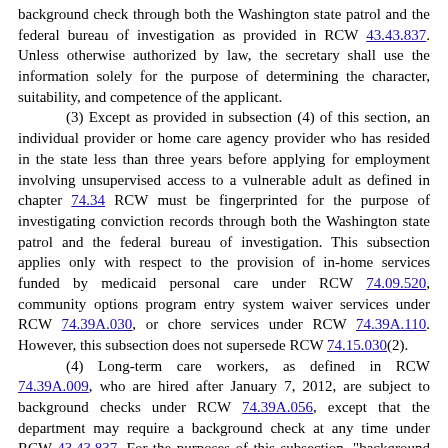background check through both the Washington state patrol and the federal bureau of investigation as provided in RCW 43.43.837. Unless otherwise authorized by law, the secretary shall use the information solely for the purpose of determining the character, suitability, and competence of the applicant. (3) Except as provided in subsection (4) of this section, an individual provider or home care agency provider who has resided in the state less than three years before applying for employment involving unsupervised access to a vulnerable adult as defined in chapter 74.34 RCW must be fingerprinted for the purpose of investigating conviction records through both the Washington state patrol and the federal bureau of investigation. This subsection applies only with respect to the provision of in-home services funded by medicaid personal care under RCW 74.09.520, community options program entry system waiver services under RCW 74.39A.030, or chore services under RCW 74.39A.110. However, this subsection does not supersede RCW 74.15.030(2). (4) Long-term care workers, as defined in RCW 74.39A.009, who are hired after January 7, 2012, are subject to background checks under RCW 74.39A.056, except that the department may require a background check at any time under RCW 43.43.837. For the purposes of this subsection, "background check" includes, but is not limited to, a fingerprint check submitted for the purpose of investigating conviction records through both the Washington state patrol and the federal bureau of investigation.